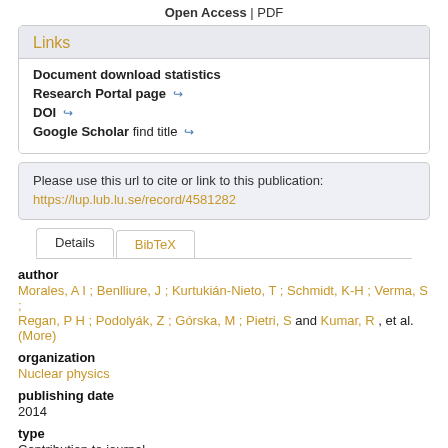Open Access | PDF
Links
Document download statistics
Research Portal page [→]
DOI [→]
Google Scholar find title [→]
Please use this url to cite or link to this publication:
https://lup.lub.lu.se/record/4581282
Details   BibTeX
author
Morales, A I ; Benlliure, J ; Kurtukián-Nieto, T ; Schmidt, K-H ; Verma, S ; Regan, P H ; Podolyák, Z ; Górska, M ; Pietri, S and Kumar, R , et al. (More)
organization
Nuclear physics
publishing date
2014
type
Contribution to journal